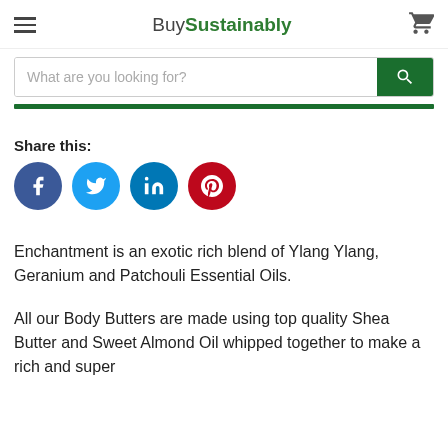BuySustainably
[Figure (screenshot): Search bar with placeholder text 'What are you looking for?' and green search button with magnifying glass icon]
Share this:
[Figure (infographic): Social sharing icons: Facebook (blue circle), Twitter (light blue circle), LinkedIn (blue circle), Pinterest (red circle)]
Enchantment is an exotic rich blend of Ylang Ylang, Geranium and Patchouli Essential Oils.
All our Body Butters are made using top quality Shea Butter and Sweet Almond Oil whipped together to make a rich and super